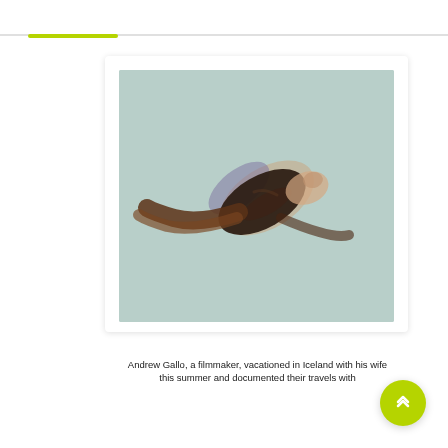[Figure (photo): A person lying down seen from above, with dark hair spread out against a pale mint/light blue background. The figure is slightly blurred, showing dark hair and hints of a purple garment and skin tones.]
Andrew Gallo, a filmmaker, vacationed in Iceland with his wife this summer and documented their travels with